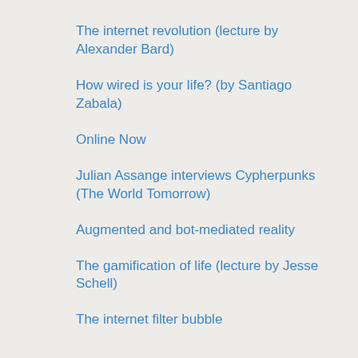The internet revolution (lecture by Alexander Bard)
How wired is your life? (by Santiago Zabala)
Online Now
Julian Assange interviews Cypherpunks (The World Tomorrow)
Augmented and bot-mediated reality
The gamification of life (lecture by Jesse Schell)
The internet filter bubble